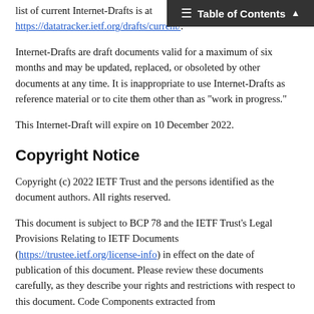Table of Contents
list of current Internet-Drafts is at https://datatracker.ietf.org/drafts/current/.
Internet-Drafts are draft documents valid for a maximum of six months and may be updated, replaced, or obsoleted by other documents at any time. It is inappropriate to use Internet-Drafts as reference material or to cite them other than as "work in progress."
This Internet-Draft will expire on 10 December 2022.
Copyright Notice
Copyright (c) 2022 IETF Trust and the persons identified as the document authors. All rights reserved.
This document is subject to BCP 78 and the IETF Trust's Legal Provisions Relating to IETF Documents (https://trustee.ietf.org/license-info) in effect on the date of publication of this document. Please review these documents carefully, as they describe your rights and restrictions with respect to this document. Code Components extracted from